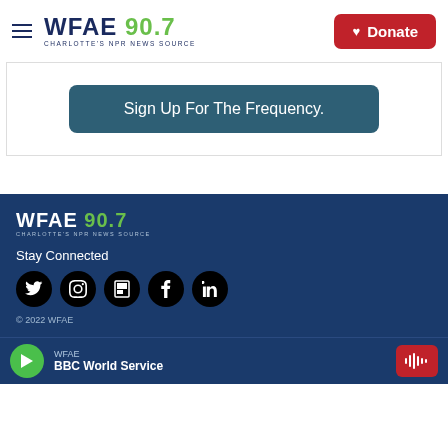WFAE 90.7 Charlotte's NPR News Source | Donate
Sign Up For The Frequency.
[Figure (logo): WFAE 90.7 Charlotte's NPR News Source logo in white on dark blue background]
Stay Connected
[Figure (infographic): Social media icons: Twitter, Instagram, Flipboard, Facebook, LinkedIn - black circles on dark blue background]
© 2022 WFAE
WFAE BBC World Service